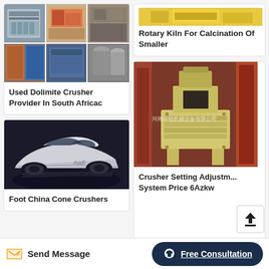[Figure (photo): Rotary kiln equipment photo (partially visible at top)]
Rotary Kiln For Calcination Of Smaller
[Figure (photo): Collage of mining/crushing equipment photos: 6 images showing various crushers, screens, industrial machinery]
Used Dolimite Crusher Provider In South Africac
[Figure (photo): Audi sports car (supercar), silver/white, rear three-quarter view]
Foot China Cone Crushers
[Figure (photo): Yellow industrial crusher machine (vertical shaft impact crusher) on red metal frame background, with Chinese watermark text]
Crusher Setting Adjustment System Price 6Azkw
Send Message
Free Consultation